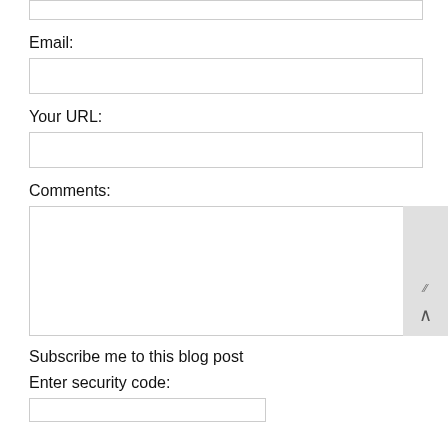[Figure (screenshot): Partial top input box (cropped at top of page)]
Email:
[Figure (screenshot): Email input field (empty text box)]
Your URL:
[Figure (screenshot): Your URL input field (empty text box)]
Comments:
[Figure (screenshot): Comments textarea (empty, with resize handle and scroll-to-top button overlay)]
Subscribe me to this blog post
Enter security code:
[Figure (screenshot): Security code input field (partial, cropped at bottom)]